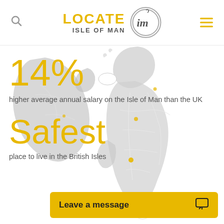[Figure (logo): Locate Isle of Man logo with yellow text and circular IM emblem]
[Figure (map): Faded grey map of the British Isles including Ireland, Great Britain, and the Isle of Man shown in white/highlighted]
14%
higher average annual salary on the Isle of Man than the UK
Safest
place to live in the British Isles
Leave a message